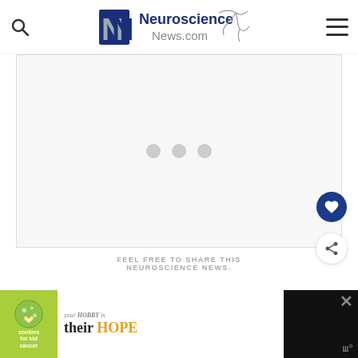Neuroscience News.com
[Figure (other): Content loading area with three gray dots indicating loading spinner, light gray background]
[Figure (other): Heart/like button (dark blue circle with white heart icon)]
[Figure (other): Share button (white circle with share icon)]
FEEL FREE TO SHARE THIS NEUROSCIENCE NEWS.
[Figure (other): Advertisement banner: cookies for kid cancer - your HOBBY is their HOPE, with close X button]